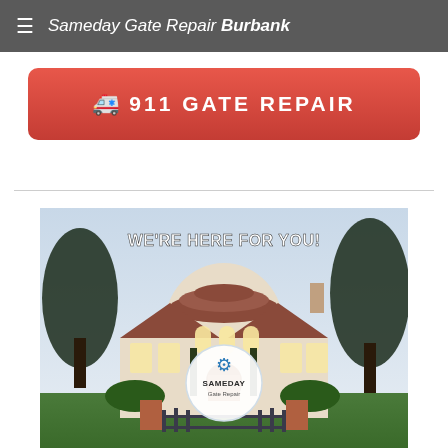Sameday Gate Repair Burbank
911 GATE REPAIR
[Figure (photo): Exterior photo of a large Spanish-style residential home with tile roof, illuminated entrance, trees on both sides, ornamental iron gate in foreground, and 'WE'RE HERE FOR YOU!' text overlay. Sameday Gate Repair logo circle overlaid at center.]